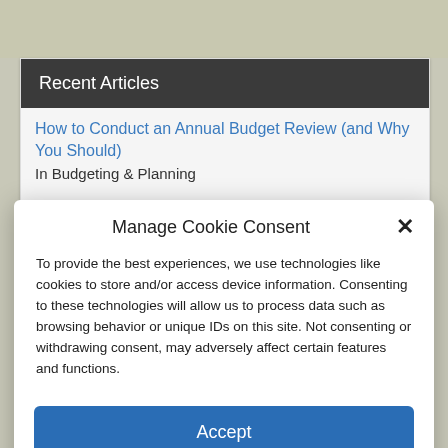Recent Articles
How to Conduct an Annual Budget Review (and Why You Should)
In Budgeting & Planning
Why YNAB? A Detailed Breakdown of YNAB's Unique Layered Approach to Budgeting
Manage Cookie Consent
To provide the best experiences, we use technologies like cookies to store and/or access device information. Consenting to these technologies will allow us to process data such as browsing behavior or unique IDs on this site. Not consenting or withdrawing consent, may adversely affect certain features and functions.
Accept
Privacy  Privacy